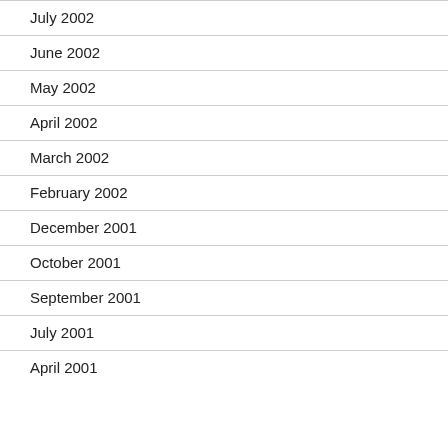July 2002
June 2002
May 2002
April 2002
March 2002
February 2002
December 2001
October 2001
September 2001
July 2001
April 2001